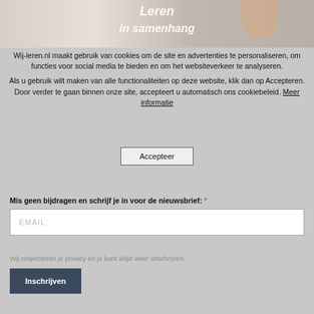[Figure (screenshot): Book cover or website banner image showing text 'Leren in samenhang' with a person in background, cropped at top]
Wij-leren.nl maakt gebruik van cookies om de site en advertenties te personaliseren, om functies voor social media te bieden en om het websiteverkeer te analyseren.
Als u gebruik wilt maken van alle functionaliteiten op deze website, klik dan op Accepteren. Door verder te gaan binnen onze site, accepteert u automatisch ons cookiebeleid. Meer informatie
Accepteer
Mis geen bijdragen en schrijf je in voor de nieuwsbrief: *
EMAIL
Wij respecteren je privacy en je kunt altijd weer uitschrijven.
Inschrijven